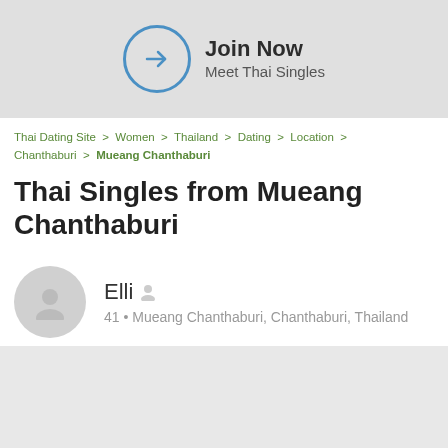[Figure (infographic): Join Now button banner with circular arrow icon and text 'Join Now / Meet Thai Singles']
Thai Dating Site > Women > Thailand > Dating > Location > Chanthaburi > Mueang Chanthaburi
Thai Singles from Mueang Chanthaburi
Elli  41 • Mueang Chanthaburi, Chanthaburi, Thailand